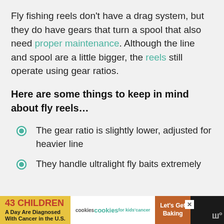Fly fishing reels don't have a drag system, but they do have gears that turn a spool that also need proper maintenance. Although the line and spool are a little bigger, the reels still operate using gear ratios.
Here are some things to keep in mind about fly reels…
The gear ratio is slightly lower, adjusted for heavier line
They handle ultralight fly baits extremely
[Figure (other): Advertisement banner at bottom: '43 CHILDREN A Day Are Diagnosed With Cancer in the U.S.' with cookies for kids' cancer logo and 'Let's Get Baking' text]